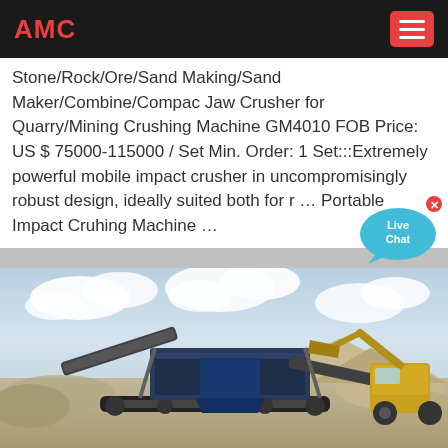AMC
Stone/Rock/Ore/Sand Making/Sand Maker/Combine/Compac Jaw Crusher for Quarry/Mining Crushing Machine GM4010 FOB Price: US $ 75000-115000 / Set Min. Order: 1 Set:::Extremely powerful mobile impact crusher in uncompromisingly robust design, ideally suited both for r ... Portable Impact Cruhing Machine ...
[Figure (photo): A portable mobile impact crushing machine (blue/grey) on a quarry site with gravel piles and heavy equipment, cloudy sky in background.]